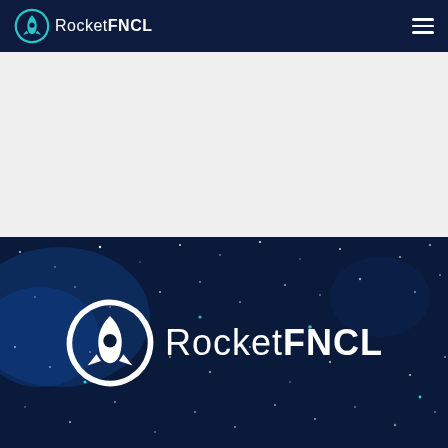RocketFNCL navigation bar with logo and hamburger menu
[Figure (other): White card panel on light gray background, empty content area]
[Figure (logo): RocketFNCL logo large white version on dark space/starfield background]